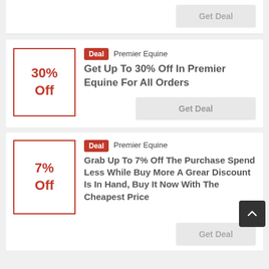Get Deal
Deal  Premier Equine
Get Up To 30% Off In Premier Equine For All Orders
Get Deal
Deal  Premier Equine
Grab Up To 7% Off The Purchase Spend Less While Buy More A Grear Discount Is In Hand, Buy It Now With The Cheapest Price
Get Deal